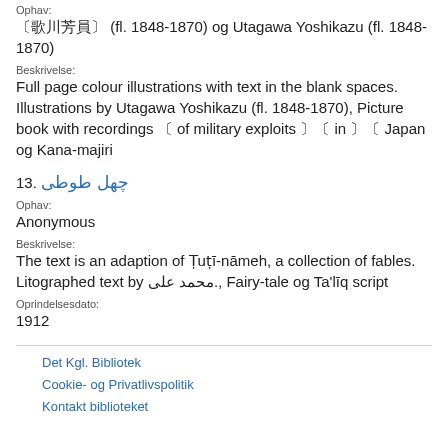Ophav:
〔歌川芳員〕 (fl. 1848-1870) og Utagawa Yoshikazu (fl. 1848-1870)
Beskrivelse:
Full page colour illustrations with text in the blank spaces. Illustrations by Utagawa Yoshikazu (fl. 1848-1870), Picture book with recordings 〔 of military exploits 〕〔 in 〕〔 Japan og Kana-majiri
13. چهل طوطی
Ophav:
Anonymous
Beskrivelse:
The text is an adaption of Ṭuṭī-nāmeh, a collection of fables. Litographed text by محمد علی., Fairy-tale og Ta'līq script
Oprindelsesdato:
1912
Det Kgl. Bibliotek
Cookie- og Privatlivspolitik
Kontakt biblioteket